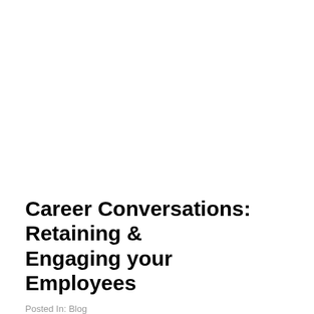Career Conversations: Retaining & Engaging your Employees
Posted In: Blog
Canadian Association of Government Finance Officers (CAGFO) Annual Conference - Break Out SessionOctober 1, 2021 Fortune Magazine reports [...]